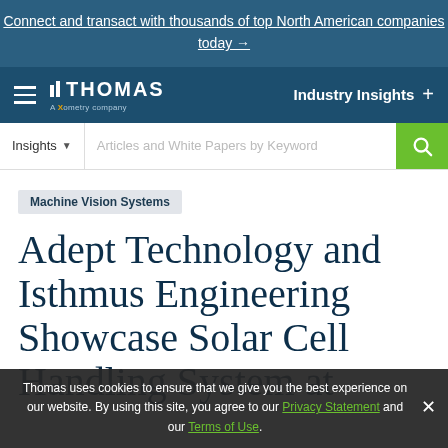Connect and transact with thousands of top North American companies today →
[Figure (logo): Thomas — A Xometry Company logo with navigation bar showing hamburger menu and Industry Insights link]
[Figure (screenshot): Search bar with Insights dropdown and Articles and White Papers by Keyword placeholder text, green search button]
Machine Vision Systems
Adept Technology and Isthmus Engineering Showcase Solar Cell Handling System at
Thomas uses cookies to ensure that we give you the best experience on our website. By using this site, you agree to our Privacy Statement and our Terms of Use.